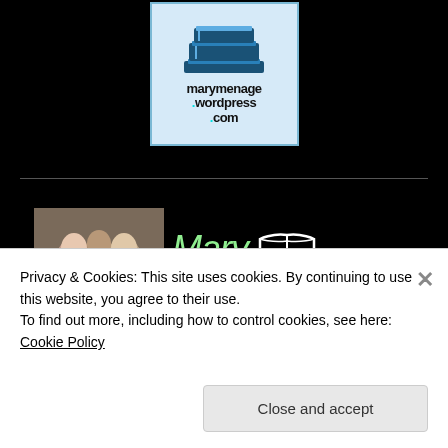[Figure (logo): marymenage.wordpress.com logo with stacked books icon on light blue background]
[Figure (illustration): Mary Menages Reviews banner with photo of three people and green/yellow text on black background with URL marymenage.wordpress.com in blue]
Privacy & Cookies: This site uses cookies. By continuing to use this website, you agree to their use.
To find out more, including how to control cookies, see here: Cookie Policy
Close and accept